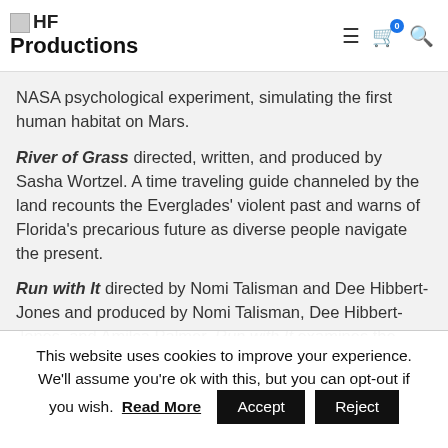HF Productions
NASA psychological experiment, simulating the first human habitat on Mars.
River of Grass directed, written, and produced by Sasha Wortzel. A time traveling guide channeled by the land recounts the Everglades' violent past and warns of Florida's precarious future as diverse people navigate the present.
Run with It directed by Nomi Talisman and Dee Hibbert-Jones and produced by Nomi Talisman, Dee Hibbert-Jones, and Amilca Palmer. Run with It examines the crisis in
This website uses cookies to improve your experience. We'll assume you're ok with this, but you can opt-out if you wish.  Read More  Accept  Reject